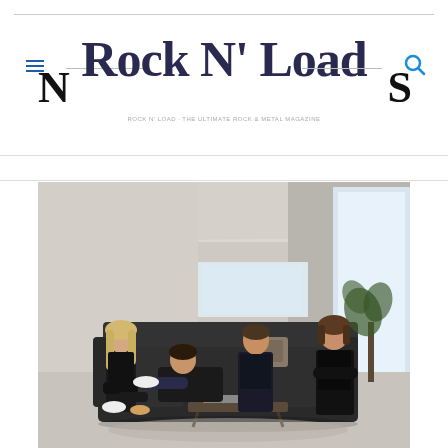[Figure (logo): Rock N Load magazine logo with decorative serif typography in dark navy/black, with partial letters visible on left and right sides]
[Figure (photo): Band photo showing four members seated in a modern living room with large windows, on a dark sofa. One female member sits on the arm of the sofa on the left, two male members recline in the middle, one male member sits upright on the right.]